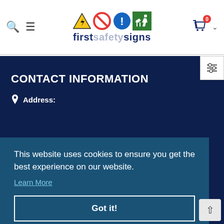[Figure (logo): First Safety Signs logo with four safety sign icons (electrical warning, prohibition, mandatory information, fire exit) above the text 'firstsafetysigns']
CONTACT INFORMATION
Address:
This website uses cookies to ensure you get the best experience on our website.
Learn More
Got it!
Working Days/Hours: